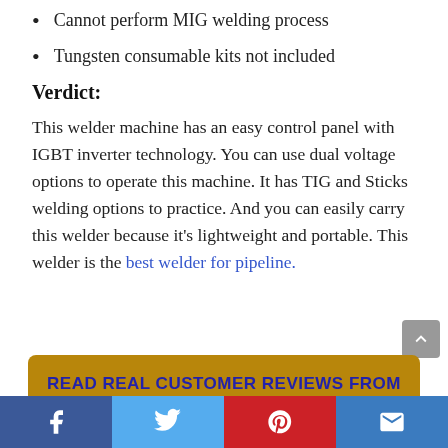Cannot perform MIG welding process
Tungsten consumable kits not included
Verdict:
This welder machine has an easy control panel with IGBT inverter technology. You can use dual voltage options to operate this machine. It has TIG and Sticks welding options to practice. And you can easily carry this welder because it's lightweight and portable. This welder is the best welder for pipeline.
READ REAL CUSTOMER REVIEWS FROM AMAZON
Social share bar: Facebook, Twitter, Pinterest, Email